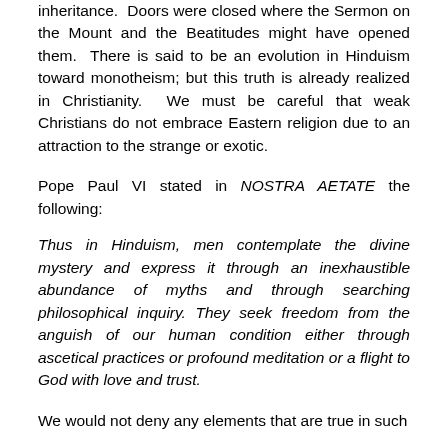inheritance.  Doors were closed where the Sermon on the Mount and the Beatitudes might have opened them.  There is said to be an evolution in Hinduism toward monotheism; but this truth is already realized in Christianity.  We must be careful that weak Christians do not embrace Eastern religion due to an attraction to the strange or exotic.
Pope Paul VI stated in NOSTRA AETATE the following:
Thus in Hinduism, men contemplate the divine mystery and express it through an inexhaustible abundance of myths and through searching philosophical inquiry. They seek freedom from the anguish of our human condition either through ascetical practices or profound meditation or a flight to God with love and trust.
We would not deny any elements that are true in such